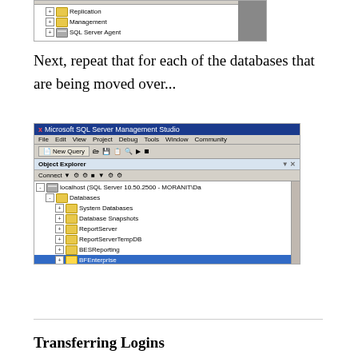[Figure (screenshot): Top portion of Microsoft SQL Server Management Studio Object Explorer showing Management and SQL Server Agent nodes]
Next, repeat that for each of the databases that are being moved over...
[Figure (screenshot): Microsoft SQL Server Management Studio Object Explorer showing localhost SQL Server 10.50.2500 with Databases tree expanded, listing System Databases, Database Snapshots, ReportServer, ReportServerTempDB, BESReporting, BFEnterprise (selected/highlighted), BFFullCoverage, BFInventory, GeoIP, Tfs_BITrac, Tfs_Configuration, Tfs_DefaultCollection, Tfs_IBM, Tfs_Moran IT, Security]
Transferring Logins